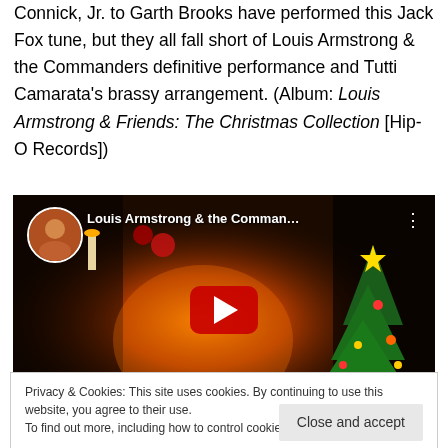Connick, Jr. to Garth Brooks have performed this Jack Fox tune, but they all fall short of Louis Armstrong & the Commanders definitive performance and Tutti Camarata's brassy arrangement. (Album: Louis Armstrong & Friends: The Christmas Collection [Hip-O Records])
[Figure (screenshot): YouTube video thumbnail for 'Louis Armstrong & the Comman...' showing a fireplace/Christmas scene with a play button overlay and channel icon]
Privacy & Cookies: This site uses cookies. By continuing to use this website, you agree to their use.
To find out more, including how to control cookies, see here: Cookie Policy